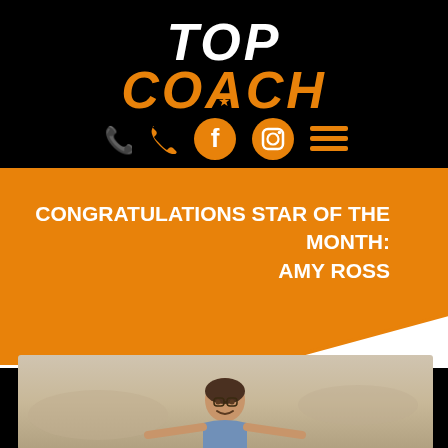[Figure (logo): TOP COACH logo in white and orange on black background, with star icon in the O of COACH]
[Figure (infographic): Navigation icons: phone, Facebook circle, Instagram circle, hamburger menu — all in orange]
CONGRATULATIONS STAR OF THE MONTH: AMY ROSS
[Figure (photo): Photo of a smiling young woman (Amy Ross) on a sandy beach, arms outstretched]